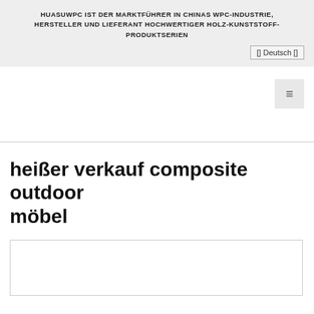HUASUWPC IST DER MARKTFÜHRER IN CHINAS WPC-INDUSTRIE, HERSTELLER UND LIEFERANT HOCHWERTIGER HOLZ-KUNSTSTOFF-PRODUKTSERIEN
[] Deutsch []
[Figure (other): Hamburger menu icon button]
heißer verkauf composite outdoor möbel
[Figure (photo): Product image placeholder box with border]